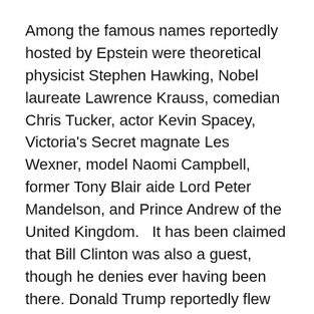Among the famous names reportedly hosted by Epstein were theoretical physicist Stephen Hawking, Nobel laureate Lawrence Krauss, comedian Chris Tucker, actor Kevin Spacey, Victoria's Secret magnate Les Wexner, model Naomi Campbell, former Tony Blair aide Lord Peter Mandelson, and Prince Andrew of the United Kingdom.   It has been claimed that Bill Clinton was also a guest, though he denies ever having been there. Donald Trump reportedly flew on one of Epstein's private jets, but it is unclear if he visited the island. The magician David Copperfield is even said to have proposed to supermodel Claudia Schiffer there....
Didn't anyone notice Epstein's alleged sex trafficking? Certainly they did. From the start, locals on St Thomas whispered darkly about Epstein's activities, calling his private jets “the Lolita Express”. When a local...